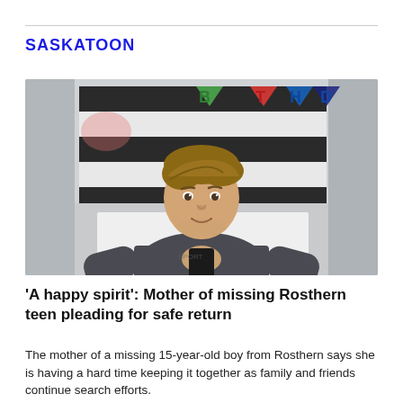SASKATOON
[Figure (photo): A teenage boy with light brown hair wearing a dark grey long-sleeve shirt, holding a dark object, standing in front of a birthday party banner backdrop (black and white striped with colorful letters spelling BIRTHDAY).]
'A happy spirit': Mother of missing Rosthern teen pleading for safe return
The mother of a missing 15-year-old boy from Rosthern says she is having a hard time keeping it together as family and friends continue search efforts.